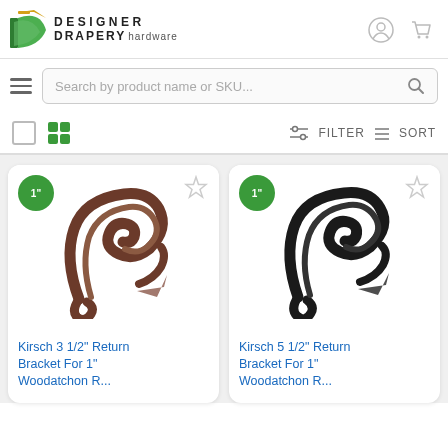[Figure (logo): Designer Drapery Hardware logo with green/gold leaf icon and stylized text]
[Figure (screenshot): Search bar with hamburger menu icon and magnifying glass]
[Figure (screenshot): Toolbar with checkbox, grid view, filter and sort controls]
[Figure (photo): Kirsch 3 1/2 inch Return Bracket For 1 inch - antique iron/rust colored bracket]
Kirsch 3 1/2" Return Bracket For 1" Woodatchon R...
[Figure (photo): Kirsch 5 1/2 inch Return Bracket For 1 inch - matte black bracket]
Kirsch 5 1/2" Return Bracket For 1" Woodatchon R...